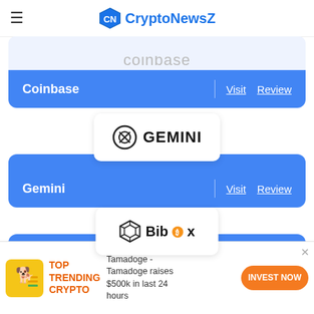CryptoNewsZ
[Figure (logo): Coinbase logo - text 'coinbase' in gray on white badge above blue card]
| Exchange | Actions |
| --- | --- |
| Coinbase | Visit | Review |
[Figure (logo): Gemini logo - circular icon and bold GEMINI text on white badge above blue card]
| Exchange | Actions |
| --- | --- |
| Gemini | Visit | Review |
[Figure (logo): Bibox logo - star icon and Bibox text with bitcoin coin replacing letter o on white badge above blue card]
| Exchange | Actions |
| --- | --- |
| Bibox | Visit | Review |
TOP TRENDING CRYPTO — Tamadoge - Tamadoge raises $500k in last 24 hours — INVEST NOW